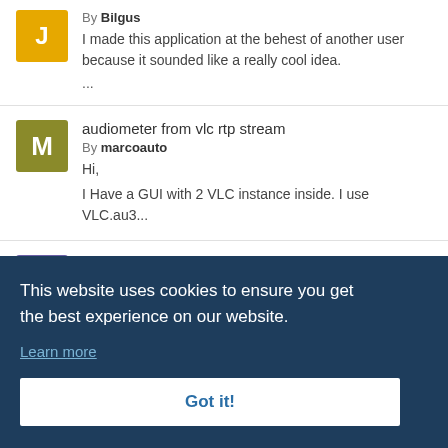By Bilgus
I made this application at the behest of another user because it sounded like a really cool idea.
...
audiometer from vlc rtp stream
By marcoauto
Hi,
I Have a GUI with 2 VLC instance inside. I use VLC.au3...
[Solved] Configuring VLC
By...
This website uses cookies to ensure you get the best experience on our website.
Learn more
Got it!